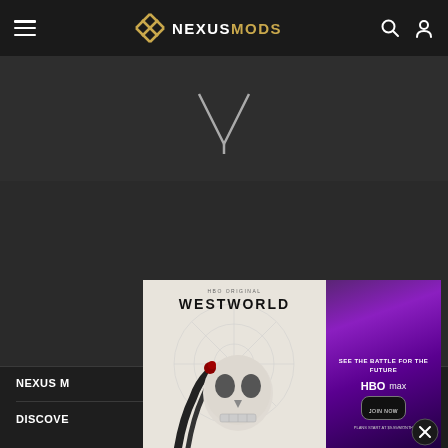NEXUSMODS — navigation bar with hamburger menu, logo, search and user icons
[Figure (logo): NexusMods logo with stylized X icon and text NEXUSMODS in white and gold]
[Figure (illustration): Dark hero area with a V-shaped symbol/chevron in gray]
[Figure (advertisement): Westworld HBO Max advertisement — left side shows robotic skull holding a rose on light background with WESTWORLD title, right side is purple with SEE THE BATTLE FOR THE FUTURE / HBO Max / JOIN NOW / PLANS START AT $9.99/MONTH]
NEXUS M
DISCOVE